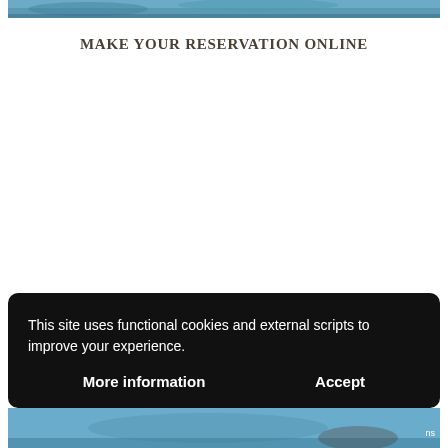[Figure (photo): Partial view of a scenic coastal or mountainous landscape photo at the top of the page]
MAKE YOUR RESERVATION ONLINE
This site uses functional cookies and external scripts to improve your experience.
More information
Accept
[Figure (photo): Partial view of a coastal scene with a person at the bottom of the page]